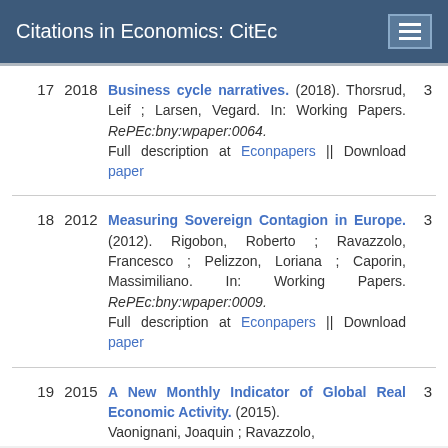Citations in Economics: CitEc
17  2018  Business cycle narratives. (2018). Thorsrud, Leif ; Larsen, Vegard. In: Working Papers. RePEc:bny:wpaper:0064. Full description at Econpapers || Download paper  3
18  2012  Measuring Sovereign Contagion in Europe. (2012). Rigobon, Roberto ; Ravazzolo, Francesco ; Pelizzon, Loriana ; Caporin, Massimiliano. In: Working Papers. RePEc:bny:wpaper:0009. Full description at Econpapers || Download paper  3
19  2015  A New Monthly Indicator of Global Real Economic Activity. (2015). Vaonignani, Joaquin ; Ravazzolo ...  3